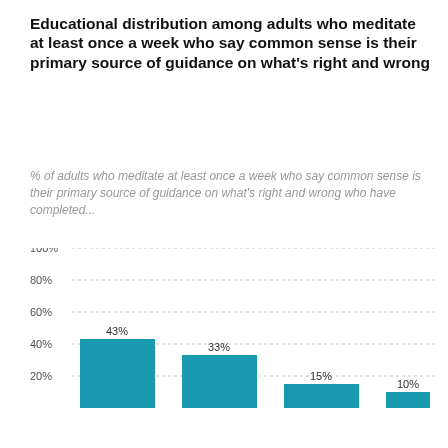Educational distribution among adults who meditate at least once a week who say common sense is their primary source of guidance on what's right and wrong
% of adults who meditate at least once a week who say common sense is their primary source of guidance on what's right and wrong who have completed...
[Figure (bar-chart): Educational distribution among adults who meditate at least once a week who say common sense is their primary source of guidance on what's right and wrong]